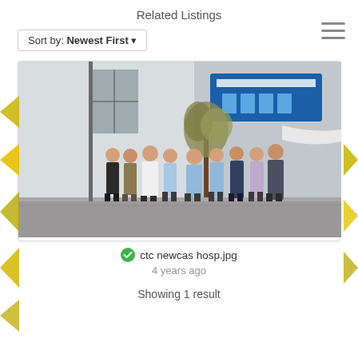Related Listings
Sort by: Newest First ▾
[Figure (photo): Group photo of approximately nine NHS healthcare staff in uniforms standing in front of a hospital building exterior with signage.]
✔ ctc newcas hosp.jpg
4 years ago
Showing 1 result